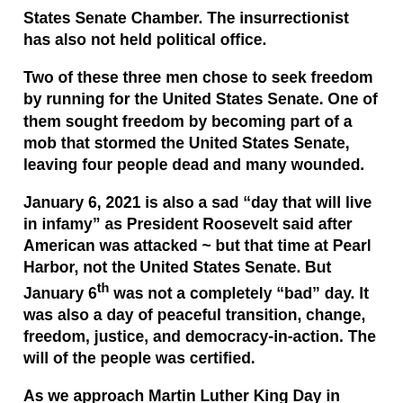States Senate Chamber.  The insurrectionist has also not held political office.
Two of these three men chose to seek freedom by running for the United States Senate.  One of them sought freedom by becoming part of a mob that stormed the United States Senate, leaving four people dead and many wounded.
January 6, 2021 is also a sad “day that will live in infamy” as President Roosevelt said after American was attacked ~ but that time at Pearl Harbor, not the United States Senate.  But January 6th was not a completely “bad” day.  It was also a day of peaceful transition, change, freedom, justice, and democracy-in-action.  The will of the people was certified.
As we approach Martin Luther King Day in about ten days